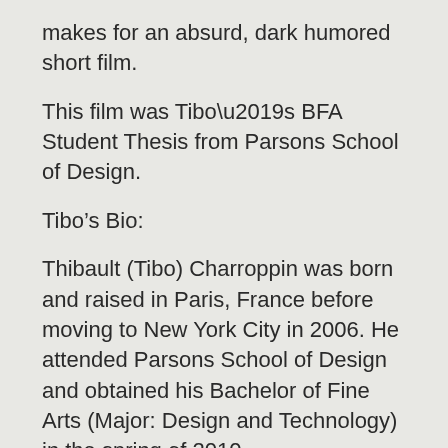makes for an absurd, dark humored short film.
This film was Tibo’s BFA Student Thesis from Parsons School of Design.
Tibo’s Bio:
Thibault (Tibo) Charroppin was born and raised in Paris, France before moving to New York City in 2006. He attended Parsons School of Design and obtained his Bachelor of Fine Arts (Major: Design and Technology) in the spring of 2010.
During his four years at Parsons, Tibo Charroppin grew interested in the art of storytelling through film, animation and mixed medias. Often through absurd humor and creative art direction, his style aims at producing a unique experience for the viewer. He enjoys most working on short films and advertisings